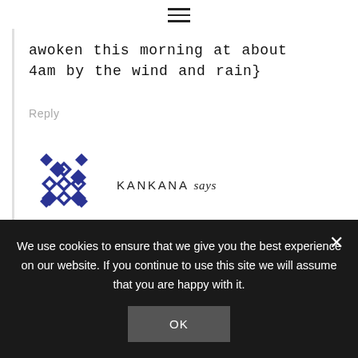≡
awoken this morning at about 4am by the wind and rain}
Reply
[Figure (logo): Blue geometric diamond/square pattern avatar icon for commenter Kankana]
KANKANA says
We use cookies to ensure that we give you the best experience on our website. If you continue to use this site we will assume that you are happy with it.
OK